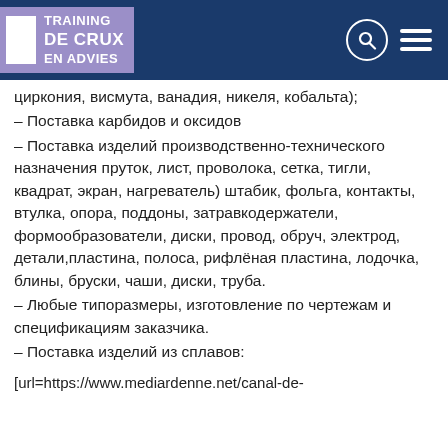TRAINING DE CRUX EN ADVIES
циркония, висмута, ванадия, никеля, кобальта);
– Поставка карбидов и оксидов
– Поставка изделий производственно-технического назначения пруток, лист, проволока, сетка, тигли, квадрат, экран, нагреватель) штабик, фольга, контакты, втулка, опора, поддоны, затравкодержатели, формообразователи, диски, провод, обруч, электрод, детали,пластина, полоса, рифлёная пластина, лодочка, блины, бруски, чаши, диски, труба.
– Любые типоразмеры, изготовление по чертежам и спецификациям заказчика.
– Поставка изделий из сплавов:
[url=https://www.mediardenne.net/canal-de-